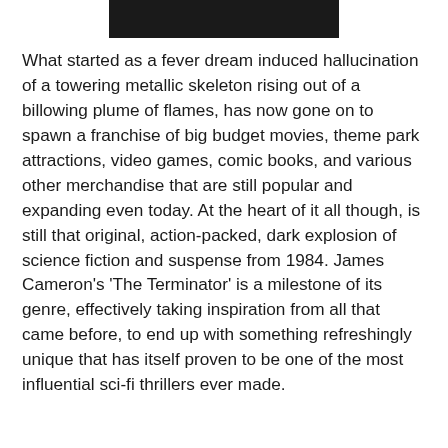[Figure (photo): Partial image of a metallic skull or Terminator figure, dark background, only bottom portion visible at top of page]
What started as a fever dream induced hallucination of a towering metallic skeleton rising out of a billowing plume of flames, has now gone on to spawn a franchise of big budget movies, theme park attractions, video games, comic books, and various other merchandise that are still popular and expanding even today. At the heart of it all though, is still that original, action-packed, dark explosion of science fiction and suspense from 1984. James Cameron's 'The Terminator' is a milestone of its genre, effectively taking inspiration from all that came before, to end up with something refreshingly unique that has itself proven to be one of the most influential sci-fi thrillers ever made.